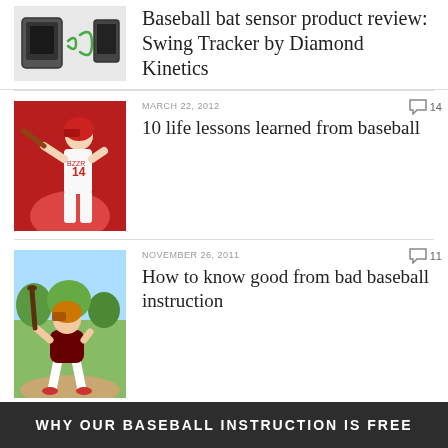[Figure (photo): Baseball bat sensor product image with wireless signal icon]
Baseball bat sensor product review: Swing Tracker by Diamond Kinetics
MARCH 22, 2012
14
[Figure (photo): Baseball batter in red uniform with number on jersey]
10 life lessons learned from baseball
NOVEMBER 26, 2011
11
[Figure (photo): Young child in baseball stance holding a bat on a baseball field]
How to know good from bad baseball instruction
WHY OUR BASEBALL INSTRUCTION IS FREE